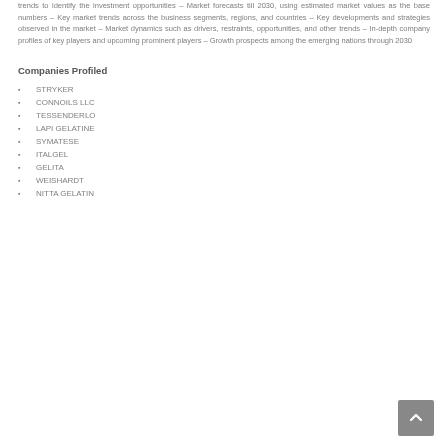trends to identify the investment opportunities – Market forecasts till 2030, using estimated market values as the base numbers – Key market trends across the business segments, regions, and countries – Key developments and strategies observed in the market – Market dynamics such as drivers, restraints, opportunities, and other trends – In-depth company profiles of key players and upcoming prominent players – Growth prospects among the emerging nations through 2030
Companies Profiled
STRYKER
CONNOILS LLC
TESSENDERLO
LAPI GELATINE
SYMATESE
ITALGEL
GELITA
WEISHARDT
NITTA GELATIN